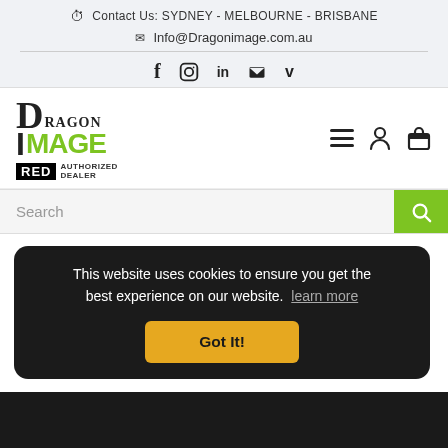Contact Us: SYDNEY - MELBOURNE - BRISBANE
Info@Dragonimage.com.au
[Figure (other): Social media icons: Facebook, Instagram, LinkedIn, YouTube, Vimeo]
[Figure (logo): Dragon Image logo with RED AUTHORIZED DEALER badge, hamburger menu, user icon, and bag icon]
Search
This website uses cookies to ensure you get the best experience on our website. learn more
Got It!